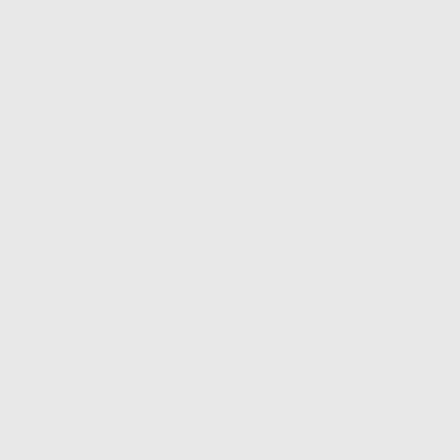Newcastle Painters | Colonial years of experience in all areas Decorating including general re full restorations and we persona are of the highest quality.
NFS Most Wanted Puzzle 1.0 (Free)
NHSuperCar 1.0 (Free)
Assemble the puzzle of your f
Nice Cats Puzzle 1.0 (Free)
This is a fun puzzle with nice c discover the picture.
1 | 2 | 3 | 4 | 5 | 6 | 7 | 8 | 9 | 10 | | 17 | 18 | 19 | 20 | 21 | 22 | 23 | | 30 | 31 | 32 | 33 | 34 | 35 | 36 | | 43 | 44 | 45 | 46 | 47 | 48 | 49 | | 56 | 57 | 58 | 59 | 60 | 61 | 62 | | 69 | 70 | 71 | 72 | 73 | 74 | 75 | | 82 | 83 | 84 | 85 | 86 | 87 | 88 | | 95 | 96 | 97 | 98 | 99 | 100 | 10 106 | 107 | 108 | 109 | 110 | 111 116 | 117 | 118 | 119 | 120 | 12 126 | 127 | 128 | 129 | 130 | 13 136 | 137 | 138 | 139 | 140 | 14 146